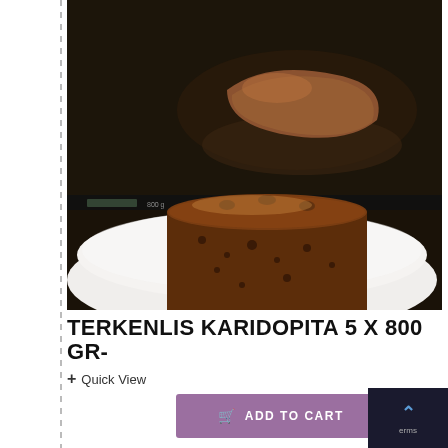[Figure (photo): Product photo showing a piece of walnut cake (karidopita) on a white plate in the foreground, with dark product packaging showing a slice of cake in the background.]
TERKENLIS KARIDOPITA 5 X 800 GR-
+ Quick View
ADD TO CART